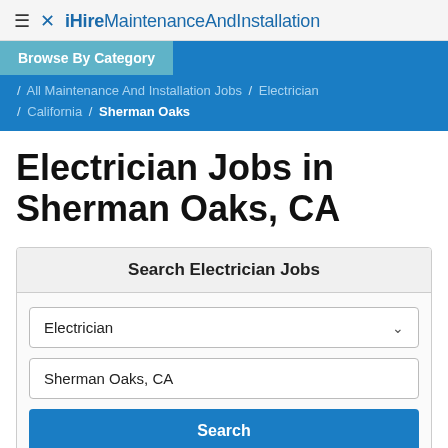≡ ✕ iHire MaintenanceAndInstallation
Browse By Category
/ All Maintenance And Installation Jobs / Electrician / California / Sherman Oaks
Electrician Jobs in Sherman Oaks, CA
Search Electrician Jobs
Electrician
Sherman Oaks, CA
Search